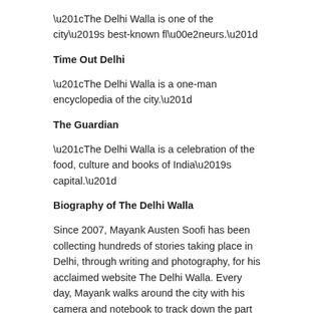“The Delhi Walla is one of the city’s best-known flâneurs.”
Time Out Delhi
“The Delhi Walla is a one-man encyclopedia of the city.”
The Guardian
“The Delhi Walla is a celebration of the food, culture and books of India’s capital.”
Biography of The Delhi Walla
Since 2007, Mayank Austen Soofi has been collecting hundreds of stories taking place in Delhi, through writing and photography, for his acclaimed website The Delhi Walla. Every day, Mayank walks around the city with his camera and notebook to track down the part of